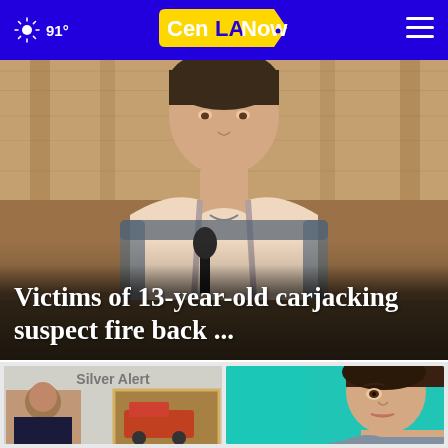91° CenLA Now navigation
[Figure (photo): Hero image of a person (upper body, wearing a spaghetti-strap dress) seated at what appears to be a courtroom or hearing table with a microphone, overlaid with a bold headline]
Victims of 13-year-old carjacking suspect fire back ...
[Figure (photo): Silver Alert thumbnail showing a person and a vehicle image]
[Figure (photo): Thumbnail of a young woman against a teal/turquoise background]